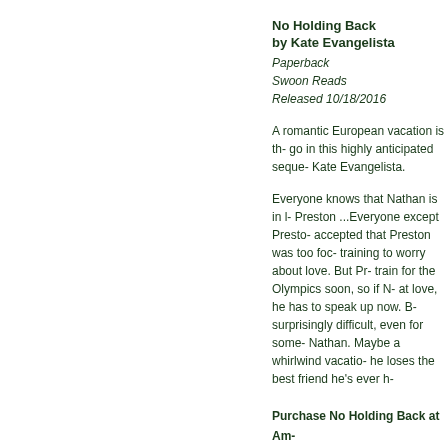No Holding Back
by Kate Evangelista
Paperback
Swoon Reads
Released 10/18/2016
A romantic European vacation is th- go in this highly anticipated seque- Kate Evangelista.
Everyone knows that Nathan is in l- Preston ...Everyone except Presto- accepted that Preston was too foc- training to worry about love. But Pr- train for the Olympics soon, so if N- at love, he has to speak up now. B- surprisingly difficult, even for some- Nathan. Maybe a whirlwind vacatio- he loses the best friend he's ever h-
Purchase No Holding Back at Am-
Purchase No Holding Back at Ind-
View No Holding Back on Goodr-